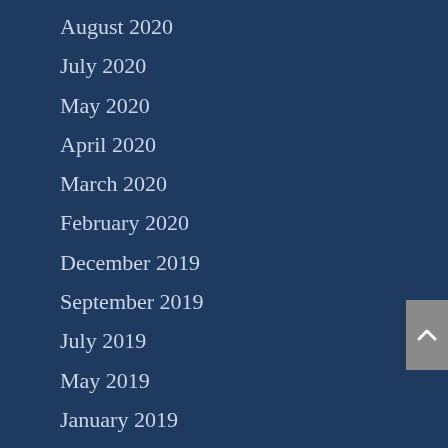August 2020
July 2020
May 2020
April 2020
March 2020
February 2020
December 2019
September 2019
July 2019
May 2019
January 2019
December 2018
October 2018